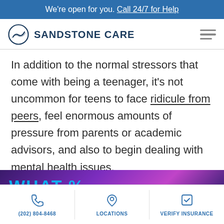We're open for you. Call 24/7 for Help
[Figure (logo): Sandstone Care logo with circular icon and brand name]
In addition to the normal stressors that come with being a teenager, it's not uncommon for teens to face ridicule from peers, feel enormous amounts of pressure from parents or academic advisors, and also to begin dealing with mental health issues.
[Figure (photo): Partial image with neon text on dark purple/violet background]
(202) 804-8468 | LOCATIONS | VERIFY INSURANCE